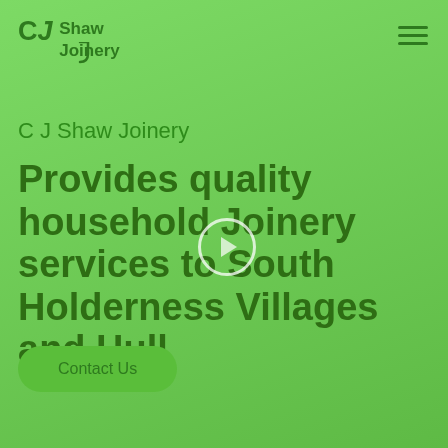[Figure (logo): CJ Shaw Joinery logo with stylized J and text]
[Figure (other): Hamburger menu icon with three horizontal lines]
C J Shaw Joinery
Provides quality household Joinery services to South Holderness Villages and Hull
[Figure (other): Play button circle overlay in the middle of the page]
Contact Us